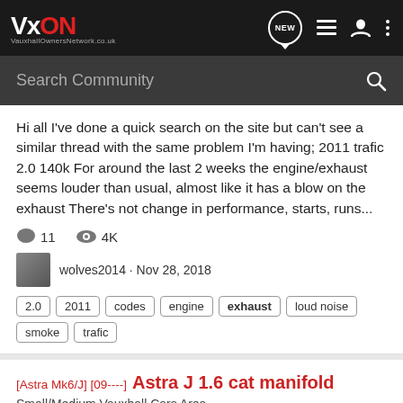VxON VauxhallOwnersNetwork.co.uk
Search Community
Hi all I've done a quick search on the site but can't see a similar thread with the same problem I'm having; 2011 trafic 2.0 140k For around the last 2 weeks the engine/exhaust seems louder than usual, almost like it has a blow on the exhaust There's not change in performance, starts, runs...
11   4K
wolves2014 · Nov 28, 2018
2.0
2011
codes
engine
exhaust
loud noise
smoke
trafic
[Astra Mk6/J] [09----]  Astra J 1.6 cat manifold
Small/Medium Vauxhall Cars Area
Apologies, couldn't find any info so posting new thread. Astra